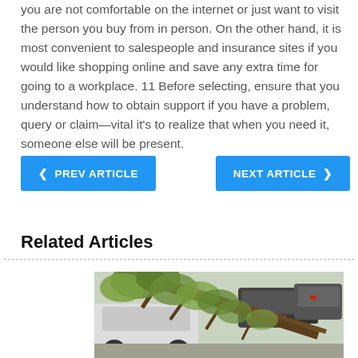you are not comfortable on the internet or just want to visit the person you buy from in person. On the other hand, it is most convenient to salespeople and insurance sites if you would like shopping online and save any extra time for going to a workplace. 11 Before selecting, ensure that you understand how to obtain support if you have a problem, query or claim—vital it's to realize that when you need it, someone else will be present.
< PREV ARTICLE
NEXT ARTICLE >
Related Articles
[Figure (photo): A fallen tree lying across multiple cars in a parking lot or street, with green foliage visible. Other cars visible in the background.]